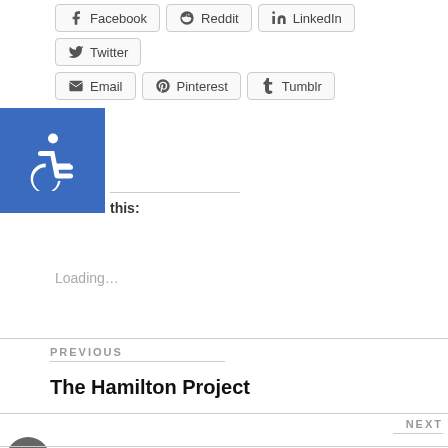[Figure (other): Social share buttons: Facebook, Reddit, LinkedIn, Twitter, Email, Pinterest, Tumblr]
[Figure (other): Blue square accessibility icon (wheelchair symbol)]
this:
Loading...
PREVIOUS
The Hamilton Project
NEXT
aching Artist Spotlight: Peggy Rambach